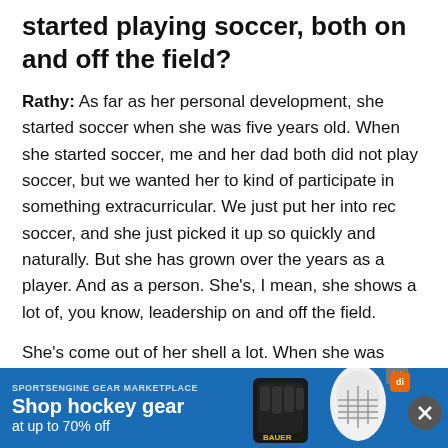started playing soccer, both on and off the field?
Rathy: As far as her personal development, she started soccer when she was five years old. When she started soccer, me and her dad both did not play soccer, but we wanted her to kind of participate in something extracurricular. We just put her into rec soccer, and she just picked it up so quickly and naturally. But she has grown over the years as a player. And as a person. She's, I mean, she shows a lot of, you know, leadership on and off the field.
She's come out of her shell a lot. When she was younger, she was very shy, just reserved. She's much more extroverted now that she's gotten
[Figure (screenshot): Advertisement bar for SportsEngine Gear Marketplace: Shop hockey gear at up to 70% off, with hockey gear imagery including Bauer glove and goalie mask]